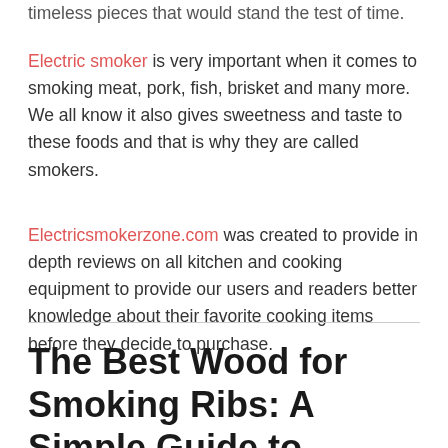timeless pieces that would stand the test of time.
Electric smoker is very important when it comes to smoking meat, pork, fish, brisket and many more. We all know it also gives sweetness and taste to these foods and that is why they are called smokers.
Electricsmokerzone.com was created to provide in depth reviews on all kitchen and cooking equipment to provide our users and readers better knowledge about their favorite cooking items before they decide to purchase.
The Best Wood for Smoking Ribs: A Simple Guide to Follow